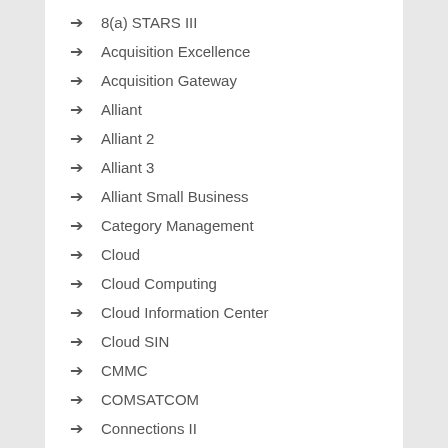8(a) STARS III
Acquisition Excellence
Acquisition Gateway
Alliant
Alliant 2
Alliant 3
Alliant Small Business
Category Management
Cloud
Cloud Computing
Cloud Information Center
Cloud SIN
CMMC
COMSATCOM
Connections II